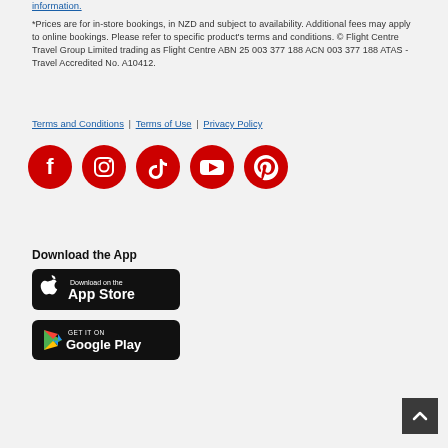information.
*Prices are for in-store bookings, in NZD and subject to availability. Additional fees may apply to online bookings. Please refer to specific product's terms and conditions. © Flight Centre Travel Group Limited trading as Flight Centre ABN 25 003 377 188 ACN 003 377 188 ATAS - Travel Accredited No. A10412.
Terms and Conditions | Terms of Use | Privacy Policy
[Figure (illustration): Five red circular social media icons: Facebook, Instagram, TikTok, YouTube, Pinterest]
Download the App
[Figure (illustration): Download on the App Store button - black rounded rectangle with Apple logo and text]
[Figure (illustration): Get it on Google Play button - black rounded rectangle with Google Play logo and text]